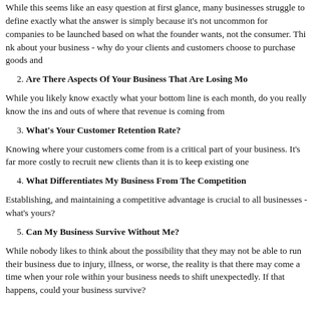While this seems like an easy question at first glance, many businesses struggle to define exactly what the answer is simply because it's not uncommon for companies to be launched based on what the founder wants, not the consumer. Think about your business - why do your clients and customers choose to purchase goods and
2. Are There Aspects Of Your Business That Are Losing Mo
While you likely know exactly what your bottom line is each month, do you really know the ins and outs of where that revenue is coming from
3. What's Your Customer Retention Rate?
Knowing where your customers come from is a critical part of your business. It's far more costly to recruit new clients than it is to keep existing one
4. What Differentiates My Business From The Competition
Establishing, and maintaining a competitive advantage is crucial to all businesses - what's yours?
5. Can My Business Survive Without Me?
While nobody likes to think about the possibility that they may no longer run their business due to injury, illness, or worse, the reality is that there may come a time when your role within your business needs to shift unexpectedly. If that happens, could your business survive?